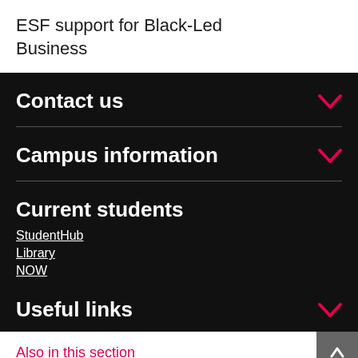ESF support for Black-Led Business
Contact us
Campus information
Current students
StudentHub
Library
NOW
Useful links
Also in this section